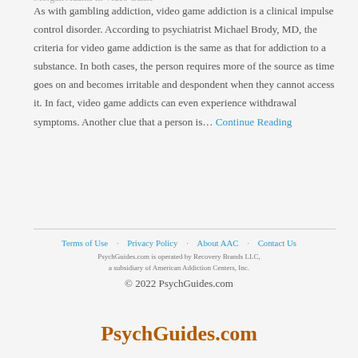Morgan Adams in Video Game
As with gambling addiction, video game addiction is a clinical impulse control disorder. According to psychiatrist Michael Brody, MD, the criteria for video game addiction is the same as that for addiction to a substance. In both cases, the person requires more of the source as time goes on and becomes irritable and despondent when they cannot access it. In fact, video game addicts can even experience withdrawal symptoms. Another clue that a person is… Continue Reading
Terms of Use  Privacy Policy  About AAC  Contact Us
PsychGuides.com is operated by Recovery Brands LLC,
a subsidiary of American Addiction Centers, Inc.
© 2022 PsychGuides.com
PsychGuides.com